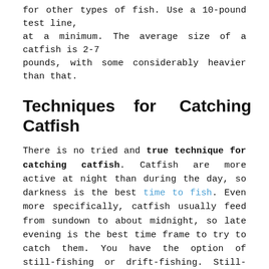for other types of fish. Use a 10-pound test line, at a minimum. The average size of a catfish is 2-7 pounds, with some considerably heavier than that.
Techniques for Catching Catfish
There is no tried and true technique for catching catfish. Catfish are more active at night than during the day, so darkness is the best time to fish. Even more specifically, catfish usually feed from sundown to about midnight, so late evening is the best time frame to try to catch them. You have the option of still-fishing or drift-fishing. Still-fishing means you are fishing from a fixed location, such as a pier. Put the bait in the water and wait for the fish to bite. Drift-fishing is usually done from a boat. The simplest form of drift-